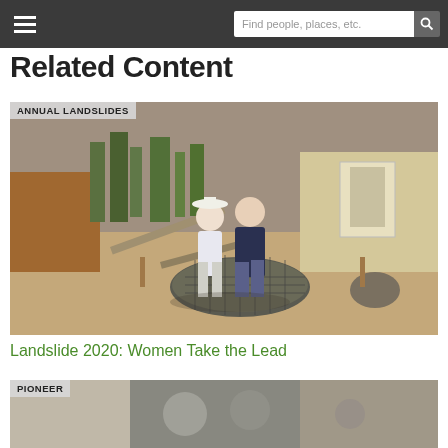Find people, places, etc.
Related Content
ANNUAL LANDSLIDES
[Figure (photo): Two people, one wearing a white hat, standing at a construction site with wire mesh roll on sandy ground, building in background]
Landslide 2020: Women Take the Lead
PIONEER
[Figure (photo): Partial view of a black and white photograph at bottom of page]